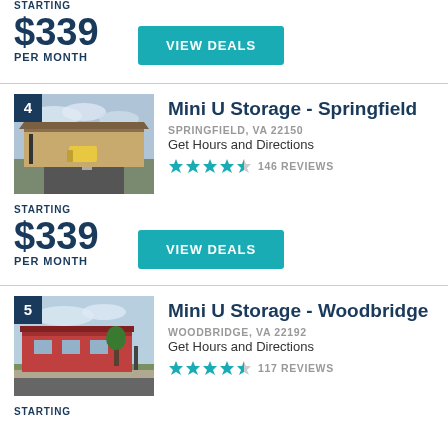STARTING
$339
PER MONTH
VIEW DEALS
Mini U Storage - Springfield
SPRINGFIELD, VA 22150
Get Hours and Directions
★★★★½  146 REVIEWS
[Figure (photo): Street view photo of Mini U Storage - Springfield facility, numbered 4]
STARTING
$339
PER MONTH
VIEW DEALS
Mini U Storage - Woodbridge
WOODBRIDGE, VA 22192
Get Hours and Directions
★★★★½  117 REVIEWS
[Figure (photo): Street view photo of Mini U Storage - Woodbridge facility, numbered 5]
STARTING